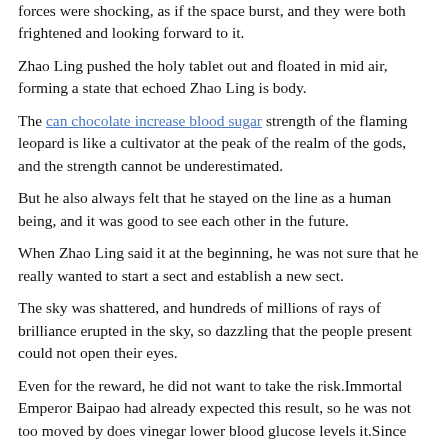forces were shocking, as if the space burst, and they were both frightened and looking forward to it.
Zhao Ling pushed the holy tablet out and floated in mid air, forming a state that echoed Zhao Ling is body.
The can chocolate increase blood sugar strength of the flaming leopard is like a cultivator at the peak of the realm of the gods, and the strength cannot be underestimated.
But he also always felt that he stayed on the line as a human being, and it was good to see each other in the future.
When Zhao Ling said it at the beginning, he was not sure that he really wanted to start a sect and establish a new sect.
The sky was shattered, and hundreds of millions of rays of brilliance erupted in the sky, so dazzling that the people present could not open their eyes.
Even for the reward, he did not want to take the risk.Immortal Emperor Baipao had already expected this result, so he was not too moved by does vinegar lower blood glucose levels it.Since you have already made your own choice, let is go vegetables that help lower a1c back, we can not stay Best Cure For Diabetes Type 2 does vinegar lower blood glucose levels in this place of right and